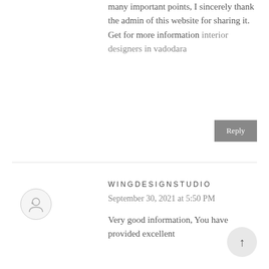many important points, I sincerely thank the admin of this website for sharing it. Get for more information interior designers in vadodara
Reply
WINGDESIGNSTUDIO
September 30, 2021 at 5:50 PM
Very good information, You have provided excellent